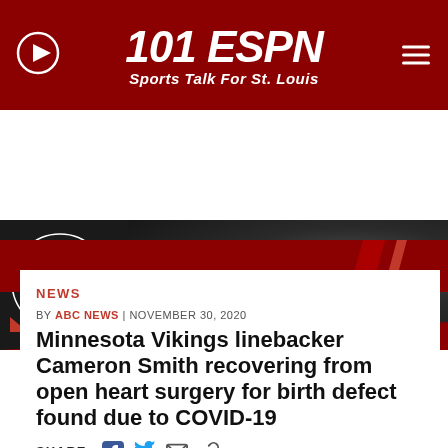[Figure (logo): 101 ESPN Sports Talk For St. Louis logo with play button and hamburger menu on dark red header bar]
[Figure (infographic): On Air Now banner showing Karraker and Smallmon show, 7-10am, with show logo and play button on dark background]
NEWS
BY ABC NEWS | NOVEMBER 30, 2020
Minnesota Vikings linebacker Cameron Smith recovering from open heart surgery for birth defect found due to COVID-19
SHARE: